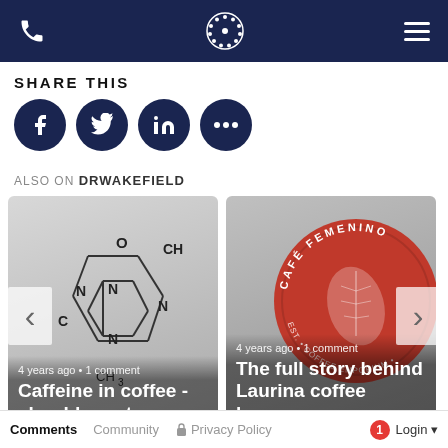DRWAKEFIELD header with phone, logo, menu
SHARE THIS
[Figure (other): Social share icons: Facebook, Twitter, LinkedIn, More (ellipsis) — all dark navy circles]
ALSO ON DRWAKEFIELD
[Figure (illustration): Card: Caffeine molecular structure. Text overlay: '4 years ago • 1 comment' and 'Caffeine in coffee - should roasters ...']
[Figure (photo): Card: Café Femenino red circular logo. Text overlay: '4 years ago • 1 comment' and 'The full story behind Laurina coffee beans - ...']
Comments  Community  Privacy Policy  1  Login